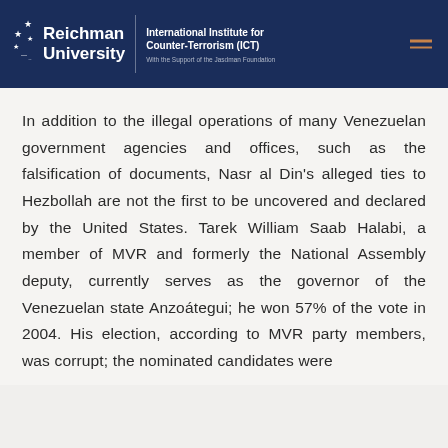Reichman University | International Institute for Counter-Terrorism (ICT) | With the Support of the Jasdman Foundation
In addition to the illegal operations of many Venezuelan government agencies and offices, such as the falsification of documents, Nasr al Din's alleged ties to Hezbollah are not the first to be uncovered and declared by the United States. Tarek William Saab Halabi, a member of MVR and formerly the National Assembly deputy, currently serves as the governor of the Venezuelan state Anzoátegui; he won 57% of the vote in 2004. His election, according to MVR party members, was corrupt; the nominated candidates were